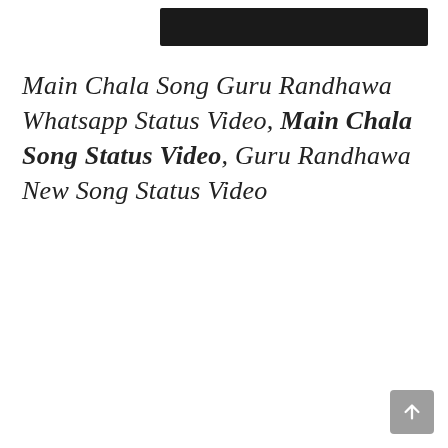[Figure (other): Dark/black horizontal banner bar at top center of page]
Main Chala Song Guru Randhawa Whatsapp Status Video, Main Chala Song Status Video, Guru Randhawa New Song Status Video